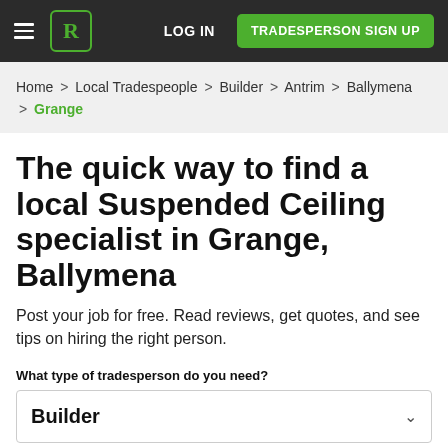LOG IN | TRADESPERSON SIGN UP
Home > Local Tradespeople > Builder > Antrim > Ballymena > Grange
The quick way to find a local Suspended Ceiling specialist in Grange, Ballymena
Post your job for free. Read reviews, get quotes, and see tips on hiring the right person.
What type of tradesperson do you need?
Builder
What type of job is it?